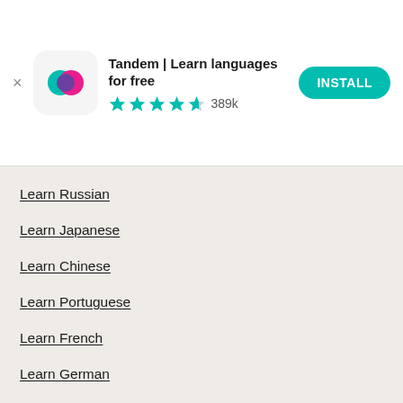[Figure (screenshot): App install banner for Tandem | Learn languages for free with app icon (teal and pink overlapping speech bubbles), 4.5 star rating with 389k reviews, and a teal INSTALL button]
Learn Russian
Learn Japanese
Learn Chinese
Learn Portuguese
Learn French
Learn German
Find a Tandem exchange partner
Practice Spanish